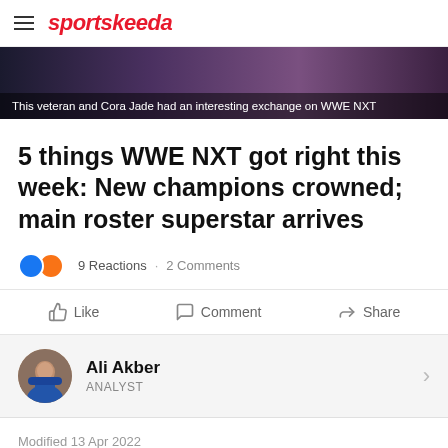sportskeeda
[Figure (photo): Dark banner image with text overlay: This veteran and Cora Jade had an interesting exchange on WWE NXT]
This veteran and Cora Jade had an interesting exchange on WWE NXT
5 things WWE NXT got right this week: New champions crowned; main roster superstar arrives
9 Reactions · 2 Comments
Like   Comment   Share
Ali Akber
ANALYST
Modified 13 Apr 2022
This week's WWE NXT is...